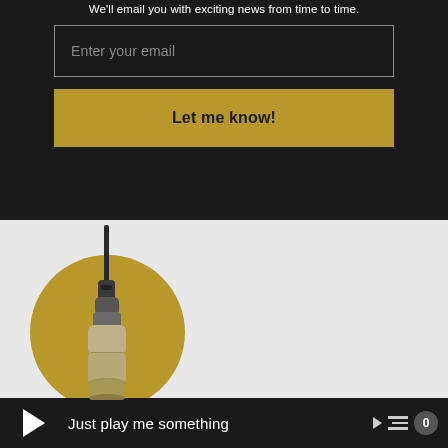We'll email you with exciting news from time to time.
Enter your email
Let me know!
[Figure (photo): Product image of a sensor/microphone device with a cable plugged into the top, shown against a golden circle background on a light grey area]
Just play me something
0